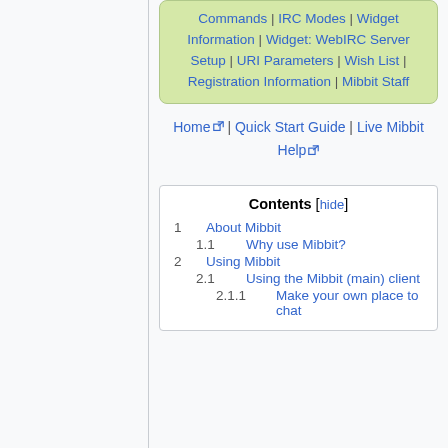Commands | IRC Modes | Widget Information | Widget: WebIRC Server Setup | URI Parameters | Wish List | Registration Information | Mibbit Staff
Home | Quick Start Guide | Live Mibbit Help
| 1 | About Mibbit |
| 1.1 | Why use Mibbit? |
| 2 | Using Mibbit |
| 2.1 | Using the Mibbit (main) client |
| 2.1.1 | Make your own place to chat |